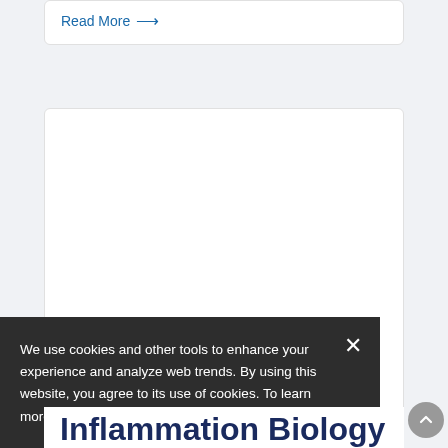Read More →
[Figure (other): White content card area, mostly empty]
We use cookies and other tools to enhance your experience and analyze web trends. By using this website, you agree to its use of cookies. To learn more, please review our Privacy Policy.
Inflammation Biology